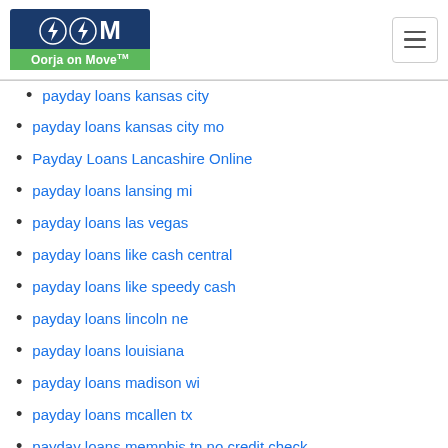[Figure (logo): Oorja on Move logo with lightning bolt icons on dark blue background and green banner]
payday loans kansas city mo
Payday Loans Lancashire Online
payday loans lansing mi
payday loans las vegas
payday loans like cash central
payday loans like speedy cash
payday loans lincoln ne
payday loans louisiana
payday loans madison wi
payday loans mcallen tx
payday loans memphis tn no credit check
payday loans meridian ms
payday loans mesa az
payday loans midland tx
payday loans mn